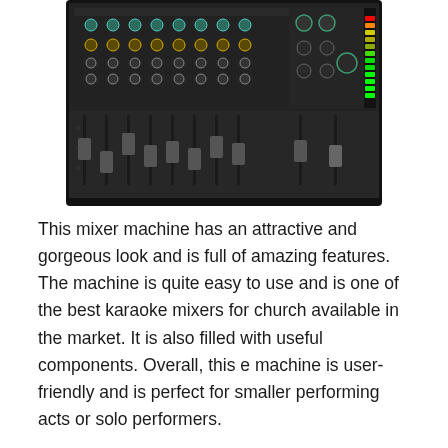[Figure (photo): Photo of a professional audio mixer machine with multiple faders, knobs, and channel strips on a dark chassis, viewed from above at a slight angle.]
This mixer machine has an attractive and gorgeous look and is full of amazing features. The machine is quite easy to use and is one of the best karaoke mixers for church available in the market. It is also filled with useful components. Overall, this e machine is user-friendly and is perfect for smaller performing acts or solo performers.
Specifications: